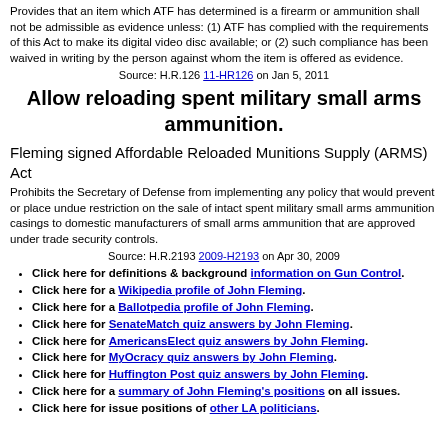Provides that an item which ATF has determined is a firearm or ammunition shall not be admissible as evidence unless: (1) ATF has complied with the requirements of this Act to make its digital video disc available; or (2) such compliance has been waived in writing by the person against whom the item is offered as evidence.
Source: H.R.126 11-HR126 on Jan 5, 2011
Allow reloading spent military small arms ammunition.
Fleming signed Affordable Reloaded Munitions Supply (ARMS) Act
Prohibits the Secretary of Defense from implementing any policy that would prevent or place undue restriction on the sale of intact spent military small arms ammunition casings to domestic manufacturers of small arms ammunition that are approved under trade security controls.
Source: H.R.2193 2009-H2193 on Apr 30, 2009
Click here for definitions & background information on Gun Control.
Click here for a Wikipedia profile of John Fleming.
Click here for a Ballotpedia profile of John Fleming.
Click here for SenateMatch quiz answers by John Fleming.
Click here for AmericansElect quiz answers by John Fleming.
Click here for MyOcracy quiz answers by John Fleming.
Click here for Huffington Post quiz answers by John Fleming.
Click here for a summary of John Fleming's positions on all issues.
Click here for issue positions of other LA politicians.